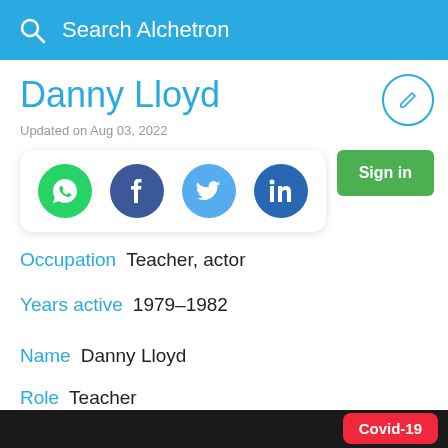Search Alchetron
Danny Lloyd
Updated on Aug 03, 2022
[Figure (other): Social share buttons: WhatsApp, Facebook, Twitter, LinkedIn]
Occupation  Teacher, actor
Years active  1979–1982
Name  Danny Lloyd
Role  Teacher
Covid-19